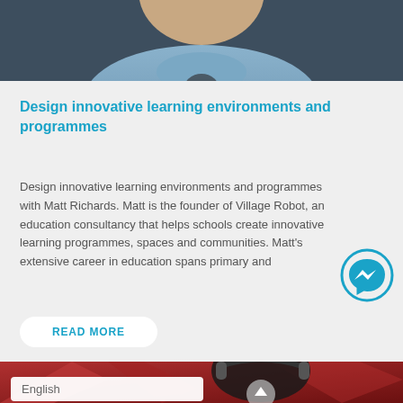[Figure (photo): Top portion of a person wearing a light blue denim shirt, photographed from shoulders up against a dark background]
Design innovative learning environments and programmes
Design innovative learning environments and programmes with Matt Richards. Matt is the founder of Village Robot, an education consultancy that helps schools create innovative learning programmes, spaces and communities. Matt's extensive career in education spans primary and
READ MORE
[Figure (photo): Bottom portion showing a person with dark hair and headphones against a red angular background, with a scroll-up button overlay and an English language selector bar]